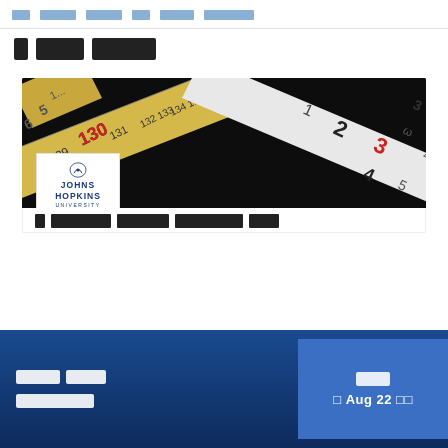██ ████ ████ ██ ████ ███████
█ █████ ████████
[Figure (photo): Photo of overlapping measuring tape rulers with Johns Hopkins University logo overlay in bottom-left corner]
████████ ██████ ████████
████ ████ █████████  ████ █ Aug 22 ██